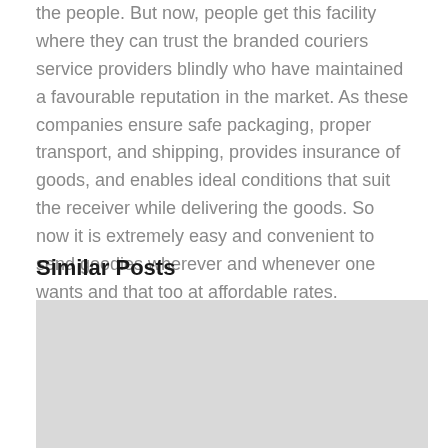the people. But now, people get this facility where they can trust the branded couriers service providers blindly who have maintained a favourable reputation in the market. As these companies ensure safe packaging, proper transport, and shipping, provides insurance of goods, and enables ideal conditions that suit the receiver while delivering the goods. So now it is extremely easy and convenient to send goodies wherever and whenever one wants and that too at affordable rates.
Similar Posts
[Figure (photo): Gray placeholder image rectangle below the Similar Posts heading]